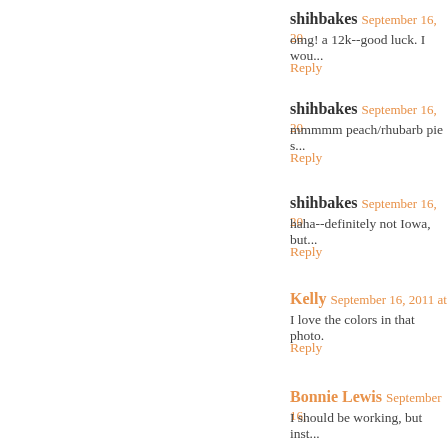shihbakes September 16, 20...
omg! a 12k--good luck. I wou...
Reply
shihbakes September 16, 20...
mmmmm peach/rhubarb pie s...
Reply
shihbakes September 16, 20...
haha--definitely not Iowa, but...
Reply
Kelly September 16, 2011 at...
I love the colors in that photo.
Reply
Bonnie Lewis September 16,...
I should be working, but inst...